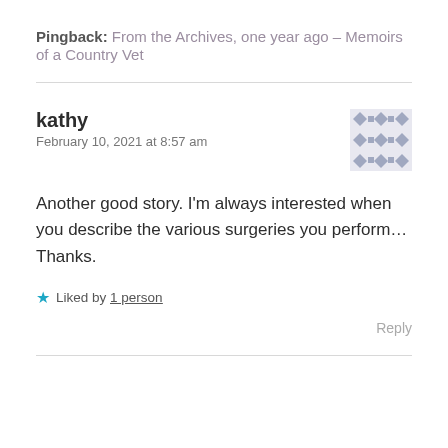Pingback: From the Archives, one year ago – Memoirs of a Country Vet
kathy
February 10, 2021 at 8:57 am
Another good story. I'm always interested when you describe the various surgeries you perform…Thanks.
Liked by 1 person
Reply